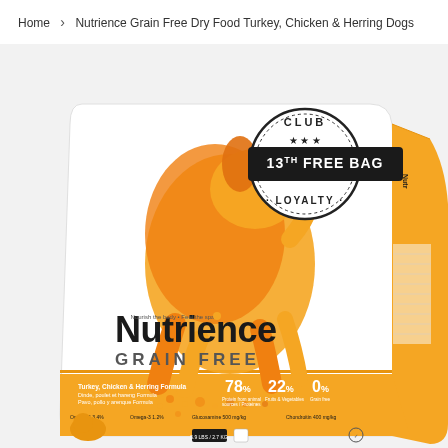Home > Nutrience Grain Free Dry Food Turkey, Chicken & Herring Dogs
[Figure (photo): Nutrience Grain Free dry dog food bag featuring Turkey, Chicken & Herring formula. The bag is white and orange/yellow with a jumping golden dog silhouette graphic. Features a 'Club Loyalty 13th Free Bag' stamp. Shows product details including 78%, 22%, 0% callouts. Omega-6 and Omega-3 information, Glucosamine 500 mg/kg, Chondroitin 400 mg/kg listed on the bag.]